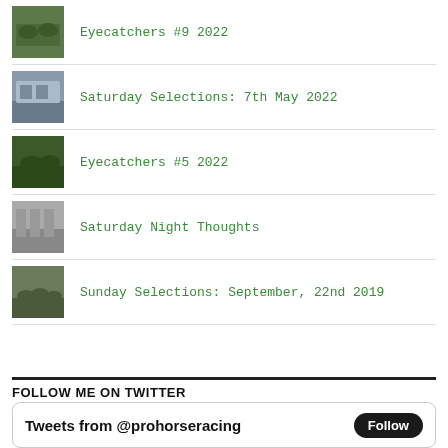Eyecatchers #9 2022
Saturday Selections: 7th May 2022
Eyecatchers #5 2022
Saturday Night Thoughts
Sunday Selections: September, 22nd 2019
FOLLOW ME ON TWITTER
Tweets from @prohorseracing
Follow